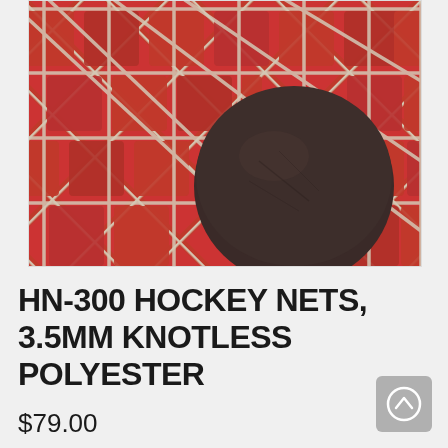[Figure (photo): Close-up photo of a hockey puck resting on a red knotless polyester hockey net. The net has a diamond pattern in red with white/beige rope borders. The puck is dark brown/black and circular, positioned in the lower center of the image.]
HN-300 HOCKEY NETS, 3.5MM KNOTLESS POLYESTER
$79.00